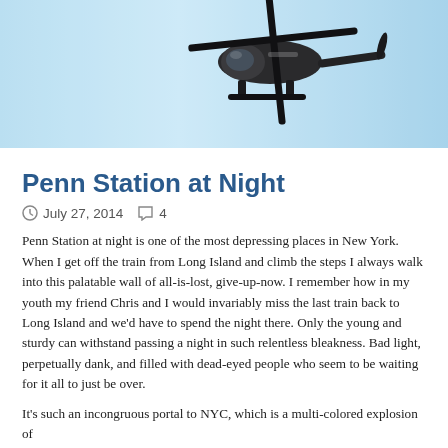[Figure (photo): A helicopter flying in a blue sky, viewed from below at an angle. Dark colored helicopter with visible landing skids and rotor blades.]
Penn Station at Night
July 27, 2014   4
Penn Station at night is one of the most depressing places in New York. When I get off the train from Long Island and climb the steps I always walk into this palatable wall of all-is-lost, give-up-now. I remember how in my youth my friend Chris and I would invariably miss the last train back to Long Island and we'd have to spend the night there. Only the young and sturdy can withstand passing a night in such relentless bleakness. Bad light, perpetually dank, and filled with dead-eyed people who seem to be waiting for it all to just be over.
It's such an incongruous portal to NYC, which is a multi-colored explosion of everything imaginable. We only live there once and here is the...